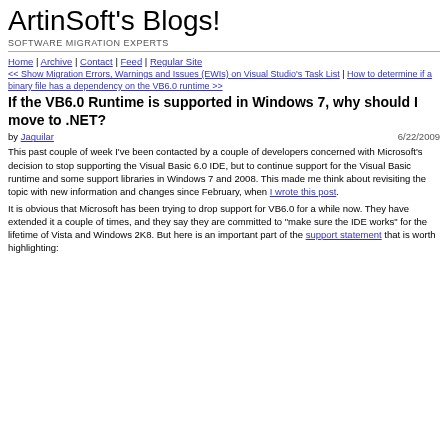ArtinSoft's Blogs!
SOFTWARE MIGRATION EXPERTS
Home | Archive | Contact | Feed | Regular Site
<< Show Migration Errors, Warnings and Issues (EWIs) on Visual Studio's Task List | How to determine if a binary file has a dependency on the VB6.0 runtime >>
If the VB6.0 Runtime is supported in Windows 7, why should I move to .NET?
by Jaguilar  6/22/2009
This past couple of week I've been contacted by a couple of developers concerned with Microsoft's decision to stop supporting the Visual Basic 6.0 IDE, but to continue support for the Visual Basic runtime and some support libraries in Windows 7 and 2008. This made me think about revisiting the topic with new information and changes since February, when I wrote this post.
It is obvious that Microsoft has been trying to drop support for VB6.0 for a while now. They have extended it a couple of times, and they say they are committed to "make sure the IDE works" for the lifetime of Vista and Windows 2K8. But here is an important part of the support statement that is worth highlighting: